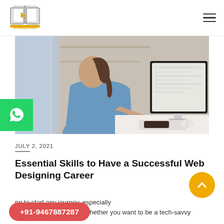[Figure (logo): Open book with cursor arrow logo, gold and gray colored]
[Figure (photo): Woman in blue shirt sitting at desk working on a desktop computer in a modern office environment]
JULY 2, 2021
Essential Skills to Have a Successful Web Designing Career
ng to start any journey, especially when it is about career. Whether you want to be a tech-savvy
[Figure (other): WhatsApp icon button (green background with white WhatsApp logo)]
[Figure (other): Scroll to top button, gold circle with upward chevron]
[Figure (other): Phone number button: +91-9467887287 in red/coral rounded pill shape]